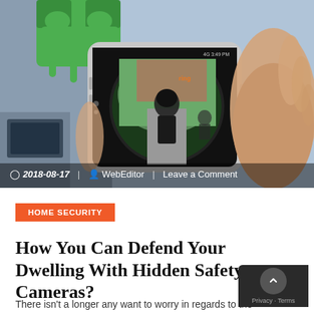[Figure (photo): A hand holding a smartphone displaying a fisheye security camera view of a hooded person at a door, with a Ring app interface visible. Green Android logo visible in background. Metadata bar at bottom shows date and author.]
2018-08-17 | WebEditor | Leave a Comment
HOME SECURITY
How You Can Defend Your Dwelling With Hidden Safety Cameras?
There isn't a longer any want to worry in regards to the